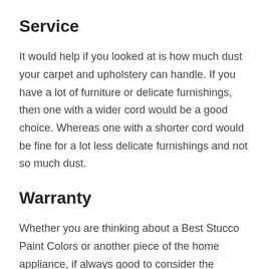Service
It would help if you looked at is how much dust your carpet and upholstery can handle. If you have a lot of furniture or delicate furnishings, then one with a wider cord would be a good choice. Whereas one with a shorter cord would be fine for a lot less delicate furnishings and not so much dust.
Warranty
Whether you are thinking about a Best Stucco Paint Colors or another piece of the home appliance, if always good to consider the warranty before buying it. Although you will find that most Best Stucco Paint